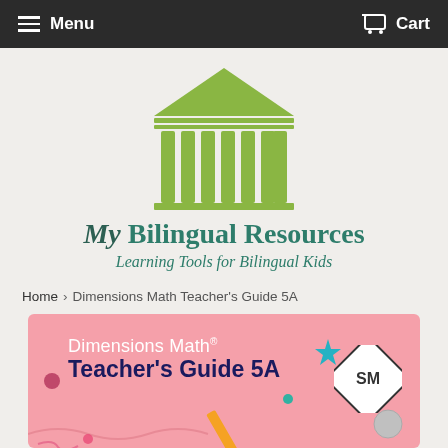Menu   Cart
[Figure (logo): Green classical Greek temple/columns logo for My Bilingual Resources]
My Bilingual Resources
Learning Tools for Bilingual Kids
Home > Dimensions Math Teacher's Guide 5A
[Figure (illustration): Pink banner with Dimensions Math Teacher's Guide 5A text, colorful school supplies, and SM diamond logo]